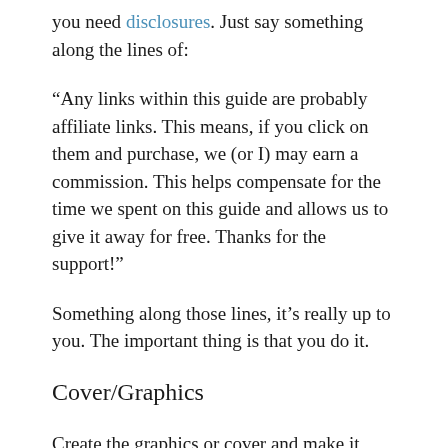you need disclosures. Just say something along the lines of:
“Any links within this guide are probably affiliate links. This means, if you click on them and purchase, we (or I) may earn a commission. This helps compensate for the time we spent on this guide and allows us to give it away for free. Thanks for the support!”
Something along those lines, it’s really up to you. The important thing is that you do it.
Cover/Graphics
Create the graphics or cover and make it relevant to the thing that you are selling.